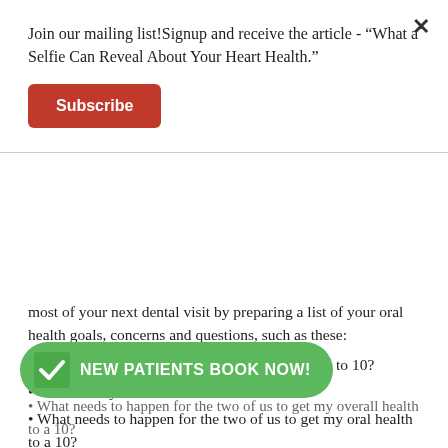Join our mailing list!Signup and receive the article - “What a Selfie Can Reveal About Your Heart Health.”
Subscribe
most of your next dental visit by preparing a list of your oral health goals, concerns and questions, such as these:
How do you rank my oral health on a scale of 1 to 10?
What are my risk factors?
What needs to happen for the two of us to get my oral health to a 10?
Are you willing to partner/coach me on how to achieve my oral health goals?
How do you rank my overall health on a scale of 1 to 10 and are there any flaming medical history that
NEW PATIENTS BOOK NOW!
What needs to happen for the two of us to get my overall health to a 10?